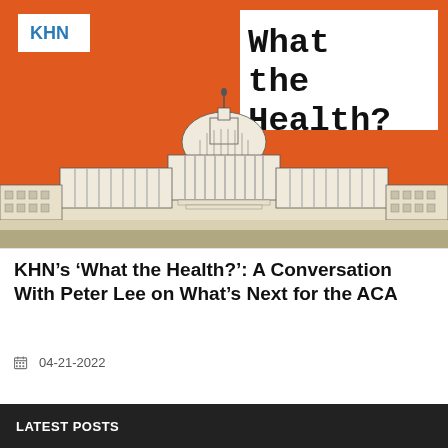[Figure (illustration): KHN 'What the Health?' podcast cover art showing an illustrated US Capitol building in white/cream on an orange background. Top left has a white KHN logo box. Top right has a white box with the text 'What the Health?' in large monospace-style black font.]
KHN’s ‘What the Health?’: A Conversation With Peter Lee on What’s Next for the ACA
04-21-2022
LATEST POSTS